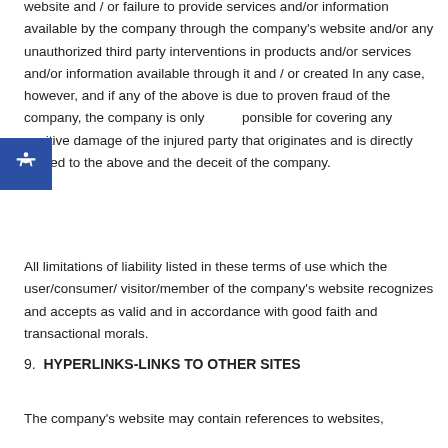website and / or failure to provide services and/or information available by the company through the company's website and/or any unauthorized third party interventions in products and/or services and/or information available through it and / or created In any case, however, and if any of the above is due to proven fraud of the company, the company is only responsible for covering any positive damage of the injured party that originates and is directly related to the above and the deceit of the company.
All limitations of liability listed in these terms of use which the user/consumer/ visitor/member of the company's website recognizes and accepts as valid and in accordance with good faith and transactional morals.
9.  HYPERLINKS-LINKS TO OTHER SITES
The company's website may contain references to websites,